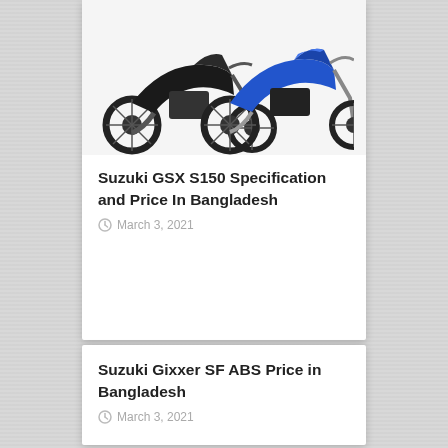[Figure (photo): Two Suzuki GSX S150 motorcycles shown from the side, one dark and one blue/black, on a white background]
Suzuki GSX S150 Specification and Price In Bangladesh
March 3, 2021
[Figure (photo): Blank/white image placeholder for Suzuki Gixxer SF ABS article]
Suzuki Gixxer SF ABS Price in Bangladesh
March 3, 2021